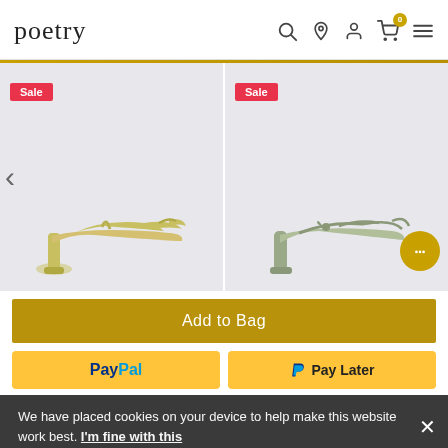poetry
[Figure (screenshot): Two women's heeled sandals on sale shown side by side against a light grey background. Left sandal is yellow-green with ankle strap. Right sandal is sage/mint coloured with thin straps. Each has a 'Sale' badge in red at top-left.]
Add to Bag
[Figure (logo): PayPal button in yellow with blue PayPal logo text]
[Figure (logo): PayPal Pay Later button in yellow with PayPal P logo and 'Pay Later' text]
We have placed cookies on your device to help make this website work best. I'm fine with this